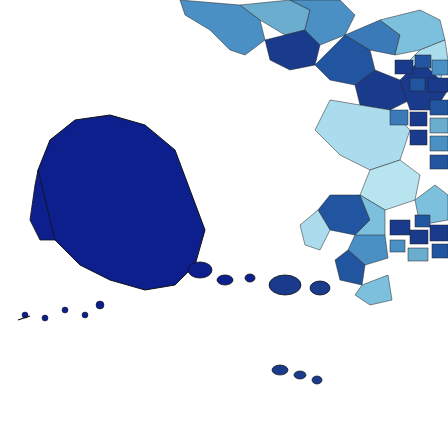[Figure (map): Partial US map (showing Alaska inset and southern/eastern US) with counties/areas shaded in varying shades of blue indicating wage levels for Healthcare Practitioners and Technical Occupations. Darker blue indicates higher wages.]
□ $31,310
□ $81,480
Blank areas indicate data
Top paying metropolitan areas for Healthcare Practitioners and Technical Occupations:
| Metropolitan area | Employment (1) | Employment per thousand | Location quotient (2) | Ho... | Top wage |
| --- | --- | --- | --- | --- | --- |